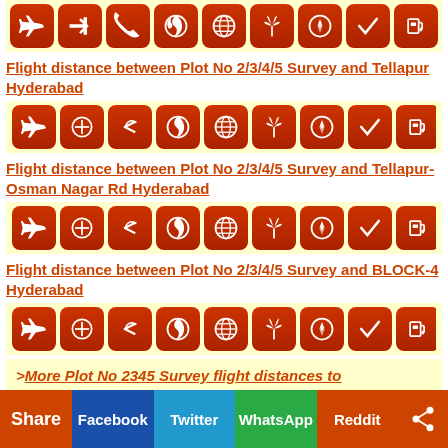[Figure (screenshot): Row of orange rounded square icon buttons for flight distance tools]
Flight distance between Plot No 2/3/4/5 Survey and Tellapur Hyderabad
[Figure (screenshot): Row of orange rounded square icon buttons for flight distance tools]
Flight distance between Plot No 2/3/4/5 Survey and Tellapur-Osman Nagar Rd Hyderabad
[Figure (screenshot): Row of orange rounded square icon buttons for flight distance tools]
Flight distance between Plot No 2/3/4/5 Survey and BLOCK-4 Hyderabad
[Figure (screenshot): Row of orange rounded square icon buttons for flight distance tools]
>More Plot No 2345 Survey flight distances to
Share | Facebook | Twitter | WhatsApp | Reddit